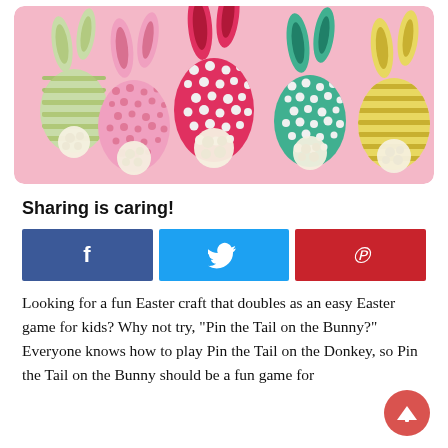[Figure (photo): Colorful paper Easter bunnies with white pom-pom tails arranged on a pink background. Bunnies are in green-striped, pink-polka-dot, red-polka-dot, teal-polka-dot, and yellow-striped patterns.]
Sharing is caring!
[Figure (infographic): Three social share buttons: Facebook (dark blue with f icon), Twitter (light blue with bird icon), Pinterest (red with P icon)]
Looking for a fun Easter craft that doubles as an easy Easter game for kids? Why not try, "Pin the Tail on the Bunny?" Everyone knows how to play Pin the Tail on the Donkey, so Pin the Tail on the Bunny should be a fun game for everyone at the Easter party. This craft